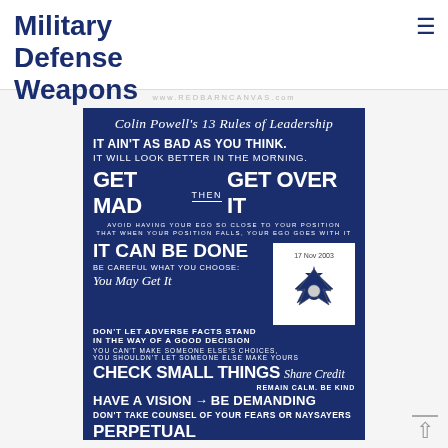Military Defense Weapons
www.REDBARNCANVAS.com
[Figure (infographic): Colin Powell's 13 Rules of Leadership poster on a dark navy background. Includes typographic rules: IT AIN'T AS BAD AS YOU THINK. IT WILL LOOK BETTER IN THE MORNING. GET MAD THEN GET OVER IT. AVOID HAVING YOUR EGO SO CLOSE TO YOUR POSITION THAT WHEN YOUR POSITION FALLS, YOUR EGO GOES WITH IT. IT CAN BE DONE. BE CAREFUL WHAT YOU CHOOSE: You May Get It. DON'T LET ADVERSE FACTS STAND IN THE WAY OF A GOOD DECISION. YOU CAN'T MAKE SOMEONE ELSE'S CHOICES, YOU SHOULDN'T LET SOMEONE ELSE MAKE YOURS. CHECK SMALL THINGS. Share Credit. REMAIN CALM. BE KIND. HAVE A VISION → BE DEMANDING. DON'T TAKE COUNSEL OF YOUR FEARS OR NAYSAYERS. PERPETUAL. With Air Force logo stamp dated 17 Nov 2003.]